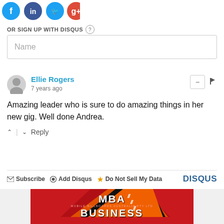[Figure (logo): Social media icons: blue circular icons for Facebook, Twitter, and Google+/red]
OR SIGN UP WITH DISQUS ?
Name
Ellie Rogers
7 years ago
Amazing leader who is sure to do amazing things in her new gig. Well done Andrea.
Reply
Subscribe   Add Disqus   Do Not Sell My Data   DISQUS
[Figure (logo): MBA Mobile Billboards Australia Pty Ltd advertisement on red background with BUSINESS text]